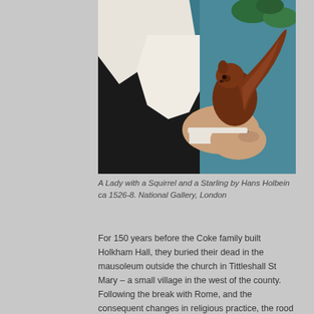[Figure (photo): A painting detail showing a person in dark clothing holding a red squirrel, with a blue-green background. The figure wears white sleeves and holds the squirrel with a bracelet-adorned wrist.]
A Lady with a Squirrel and a Starling by Hans Holbein ca 1526-8. National Gallery, London
For 150 years before the Coke family built Holkham Hall, they buried their dead in the mausoleum outside the church in Tittleshall St Mary – a small village in the west of the county. Following the break with Rome, and the consequent changes in religious practice, the rood screen no longer marked a hard border between nave and chancel and the monuments of the titled and wealthy crept into that part of the church once